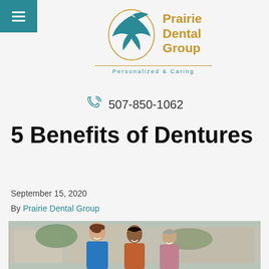Prairie Dental Group — Personalized & Caring — 507-850-1062
5 Benefits of Dentures
September 15, 2020
By Prairie Dental Group
[Figure (photo): Three women smiling and laughing together outdoors, background with building and greenery]